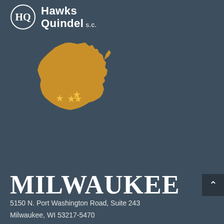[Figure (logo): Hawks Quindel S.C. law firm logo with circular HQ monogram and firm name text]
[Figure (map): Gold silhouette of the state of Wisconsin with three gold stars marking office locations in southern Wisconsin]
MILWAUKEE
5150 N. Port Washington Road, Suite 243
Milwaukee, WI 53217-5470
Phone: 414-271-8650
Fax: (414) 207-6079